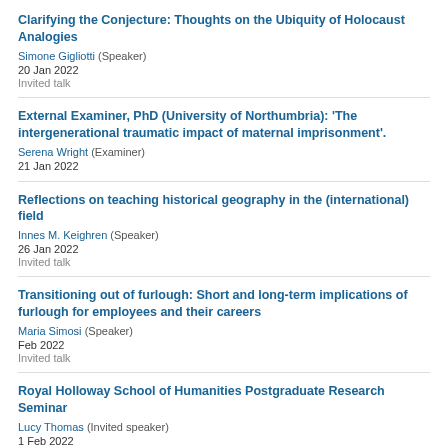Clarifying the Conjecture: Thoughts on the Ubiquity of Holocaust Analogies
Simone Gigliotti (Speaker)
20 Jan 2022
Invited talk
External Examiner, PhD (University of Northumbria): 'The intergenerational traumatic impact of maternal imprisonment'.
Serena Wright (Examiner)
21 Jan 2022
Reflections on teaching historical geography in the (international) field
Innes M. Keighren (Speaker)
26 Jan 2022
Invited talk
Transitioning out of furlough: Short and long-term implications of furlough for employees and their careers
Maria Simosi (Speaker)
Feb 2022
Invited talk
Royal Holloway School of Humanities Postgraduate Research Seminar
Lucy Thomas (Invited speaker)
1 Feb 2022
Participation in workshop, seminar, course